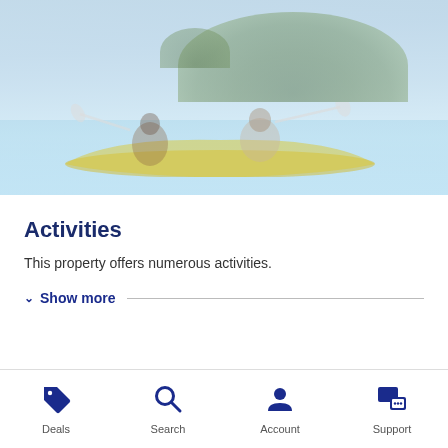[Figure (photo): Two people kayaking in a yellow kayak on turquoise water with a green island hill visible in the background. Image has a faded/washed-out appearance.]
Activities
This property offers numerous activities.
Show more
Deals  Search  Account  Support